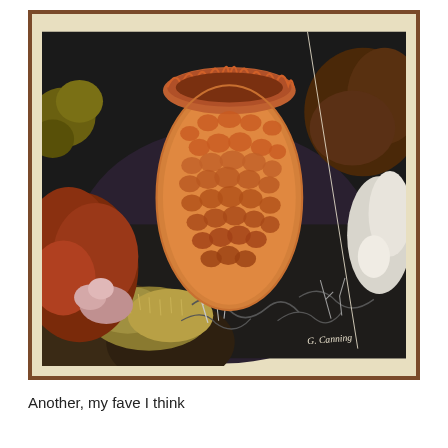[Figure (illustration): A framed painting of an underwater scene featuring a large orange sea sponge with a latticed/honeycomb texture in the center, surrounded by various colorful coral and sea organisms in shades of orange, red, brown, yellow-green, pink, and white against a dark background. The painting has a cream/beige mat and a dark wooden frame. There is an artist signature in the lower right corner.]
Another, my fave I think